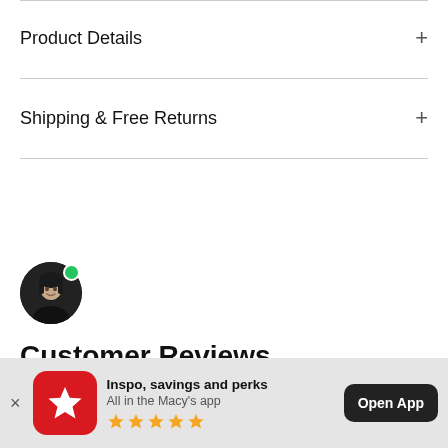Product Details
Shipping & Free Returns
[Figure (photo): Circular avatar photo of a woman with dark hair, wearing black clothing, with a green online indicator dot]
Customer Reviews
[Figure (infographic): App download banner: Macy's app icon (red with white star), text 'Inspo, savings and perks / All in the Macy's app', 5 gold stars, 'Open App' button]